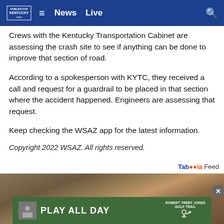News  Live
Crews with the Kentucky Transportation Cabinet are assessing the crash site to see if anything can be done to improve that section of road.
According to a spokesperson with KYTC, they received a call and request for a guardrail to be placed in that section where the accident happened. Engineers are assessing that request.
Keep checking the WSAZ app for the latest information.
Copyright 2022 WSAZ. All rights reserved.
[Figure (photo): Bottom portion of page showing a partial image (animal fur/feathers visible) and an advertisement banner reading PLAY ALL DAY with Robert Trent Jones Golf Trail branding on a green background]